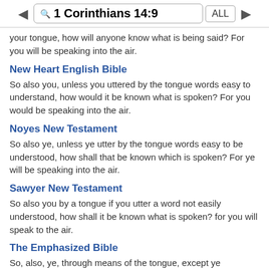1 Corinthians 14:9 ALL
your tongue, how will anyone know what is being said? For you will be speaking into the air.
New Heart English Bible
So also you, unless you uttered by the tongue words easy to understand, how would it be known what is spoken? For you would be speaking into the air.
Noyes New Testament
So also ye, unless ye utter by the tongue words easy to be understood, how shall that be known which is spoken? For ye will be speaking into the air.
Sawyer New Testament
So also you by a tongue if you utter a word not easily understood, how shall it be known what is spoken? for you will speak to the air.
The Emphasized Bible
So, also, ye, through means of the tongue, except ye